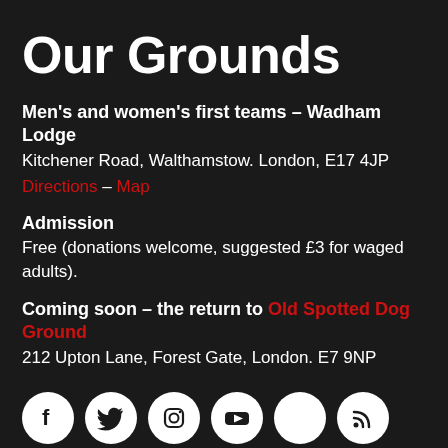Our Grounds
Men's and women's first teams – Wadham Lodge
Kitchener Road, Walthamstow. London, E17 4JP
Directions – Map
Admission
Free (donations welcome, suggested £3 for waged adults).
Coming soon – the return to Old Spotted Dog Ground
212 Upton Lane, Forest Gate, London. E7 9NP
[Figure (illustration): Social media icons row: Facebook, Twitter, Instagram, YouTube, a plain circle, RSS feed]
Contact us